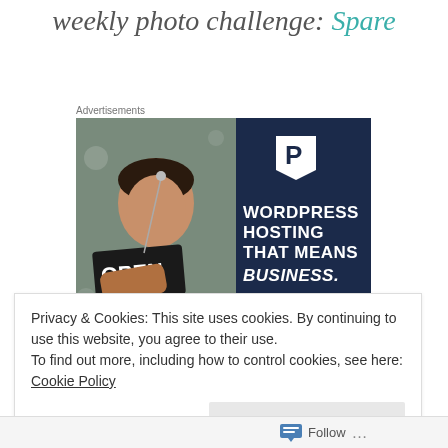weekly photo challenge: Spare
Advertisements
[Figure (photo): WordPress hosting advertisement showing a woman holding an OPEN sign with text 'WORDPRESS HOSTING THAT MEANS BUSINESS.' on dark navy blue background with Pressable P logo]
Privacy & Cookies: This site uses cookies. By continuing to use this website, you agree to their use.
To find out more, including how to control cookies, see here: Cookie Policy
Close and accept
Follow